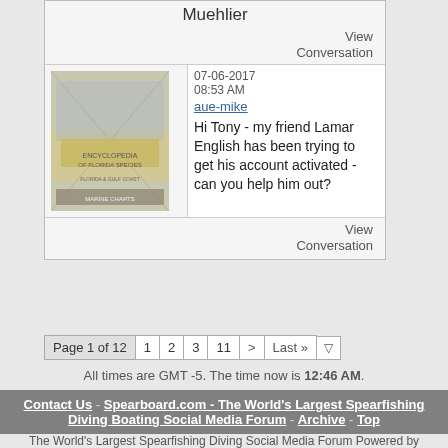Muehlier
View Conversation
07-06-2017 08:53 AM
aue-mike
Hi Tony - my friend Lamar English has been trying to get his account activated - can you help him out?
View Conversation
Page 1 of 12  1  2  3  11  >  Last »
All times are GMT -5. The time now is 12:46 AM.
Contact Us - Spearboard.com - The World's Largest Spearfishing Diving Boating Social Media Forum - Archive - Top
The World's Largest Spearfishing Diving Social Media Forum Powered by vBulletin®